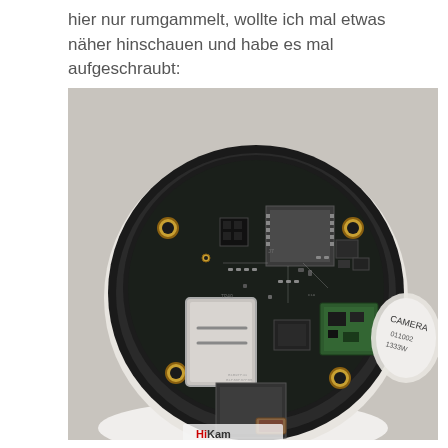hier nur rumgammelt, wollte ich mal etwas näher hinschauen und habe es mal aufgeschraubt:
[Figure (photo): Photograph of the interior circuit board of a HiKam surveillance camera, showing multiple chips, a microSD card slot, a USB port, yellow screw holes, and a green daughterboard. The camera's removed back cover with a label reading 'CAMERA' is visible to the right.]